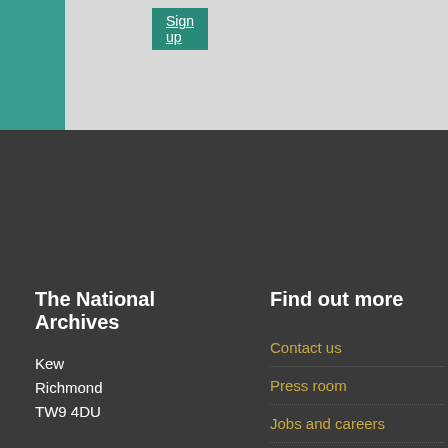Sign up
About our privacy policy
The National Archives
Kew
Richmond
TW9 4DU
Find out more
Contact us
Press room
Jobs and careers
Friends of The National Archives
Site help
Help